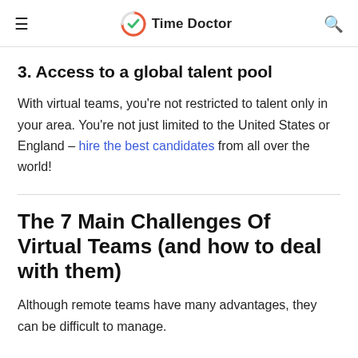Time Doctor
3. Access to a global talent pool
With virtual teams, you're not restricted to talent only in your area. You're not just limited to the United States or England – hire the best candidates from all over the world!
The 7 Main Challenges Of Virtual Teams (and how to deal with them)
Although remote teams have many advantages, they can be difficult to manage.